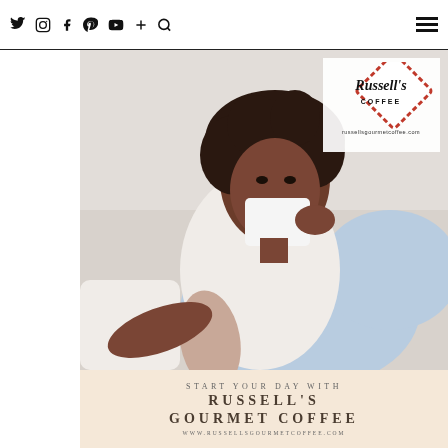Social media icons (Twitter, Instagram, Facebook, Pinterest, YouTube, Plus, Search) and hamburger menu
[Figure (photo): Advertisement photo showing a Black woman with curly hair sitting on a white couch, drinking from a white coffee mug. She is wearing a white tank top and light blue pants. In the upper right of the image is the Russell's Coffee logo (script lettering inside a red diamond/square border) and the URL russellsgourmetcoffee.com. Below the photo is a peach/cream banner with text: START YOUR DAY WITH / RUSSELL'S GOURMET COFFEE / www.RussellsGourmetCoffee.com]